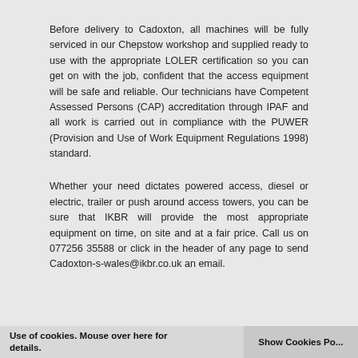Before delivery to Cadoxton, all machines will be fully serviced in our Chepstow workshop and supplied ready to use with the appropriate LOLER certification so you can get on with the job, confident that the access equipment will be safe and reliable. Our technicians have Competent Assessed Persons (CAP) accreditation through IPAF and all work is carried out in compliance with the PUWER (Provision and Use of Work Equipment Regulations 1998) standard.
Whether your need dictates powered access, diesel or electric, trailer or push around access towers, you can be sure that IKBR will provide the most appropriate equipment on time, on site and at a fair price. Call us on 077256 35588 or click in the header of any page to send Cadoxton-s-wales@ikbr.co.uk an email.
Use of cookies. Mouse over here for details.